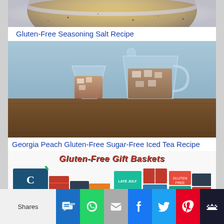[Figure (photo): Top portion of a bowl with golden/yellow seasoning salt]
Gluten-Free Seasoning Salt Recipe
[Figure (photo): A glass of iced peach tea and a glass pitcher of Georgia Peach Gluten-Free Sugar-Free Iced Tea on a wooden table with blue background]
Georgia Peach Gluten-Free Sugar-Free Iced Tea Recipe
[Figure (photo): Gluten-Free Gift Baskets advertisement showing two baskets filled with gluten-free snack products]
Shares